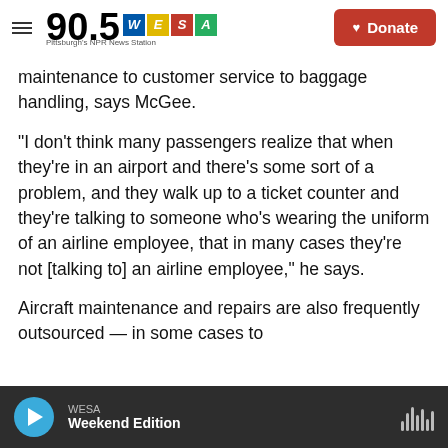90.5 WESA Pittsburgh's NPR News Station | Donate
maintenance to customer service to baggage handling, says McGee.
"I don't think many passengers realize that when they're in an airport and there's some sort of a problem, and they walk up to a ticket counter and they're talking to someone who's wearing the uniform of an airline employee, that in many cases they're not [talking to] an airline employee," he says.
Aircraft maintenance and repairs are also frequently outsourced — in some cases to
WESA | Weekend Edition